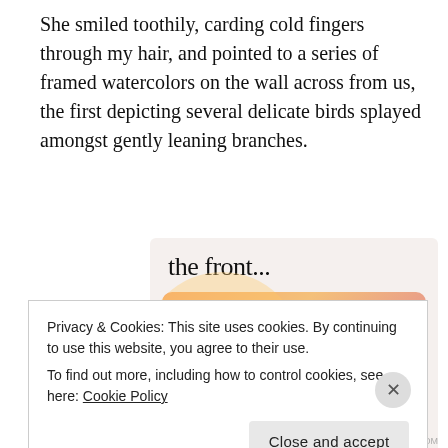She smiled toothily, carding cold fingers through my hair, and pointed to a series of framed watercolors on the wall across from us, the first depicting several delicate birds splayed amongst gently leaning branches.
[Figure (screenshot): WordPress advertisement banner showing 'the front...' at top on light background, and 'WordPress in the back.' text on a colorful orange-pink gradient rounded banner below.]
Privacy & Cookies: This site uses cookies. By continuing to use this website, you agree to their use.
To find out more, including how to control cookies, see here: Cookie Policy
Close and accept